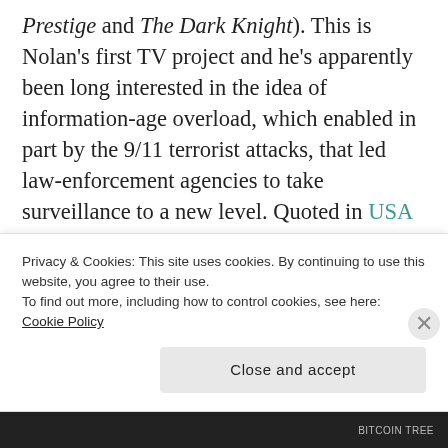Prestige and The Dark Knight). This is Nolan's first TV project and he's apparently been long interested in the idea of information-age overload, which enabled in part by the 9/11 terrorist attacks, that led law-enforcement agencies to take surveillance to a new level. Quoted in USA Today, Nolan says, "The show is about two guys interacting with an all-seeing machine that can't communicate with them beyond a string of nine numbers… We have all this
Privacy & Cookies: This site uses cookies. By continuing to use this website, you agree to their use.
To find out more, including how to control cookies, see here: Cookie Policy
Close and accept